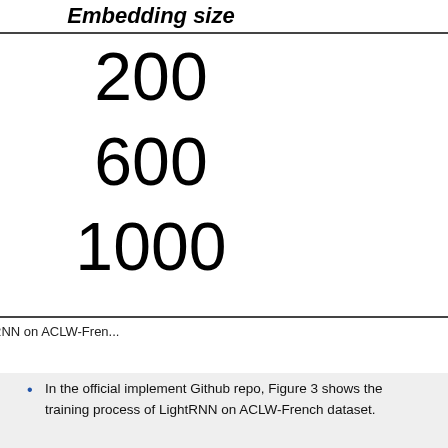| Embedding size |
| --- |
| 200 |
| 600 |
| 1000 |
Table 2. Testing PPL of LightRNN on ACLW-Fren...
In the official implement Github repo, Figure 3 shows the training process of LightRNN on ACLW-French dataset.
[Figure (continuous-plot): Line chart showing training process of LightRNN on ACLW-French dataset. Y-axis shows values from approximately 300 to 340. Two lines visible (dashed blue and green with markers) steeply descending.]